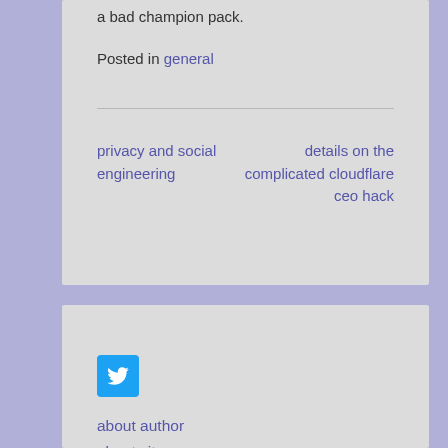a bad champion pack.
Posted in general
privacy and social engineering
details on the complicated cloudflare ceo hack
[Figure (logo): Twitter bird icon in a blue rounded square button]
about author
about site
rss entries
rss comments